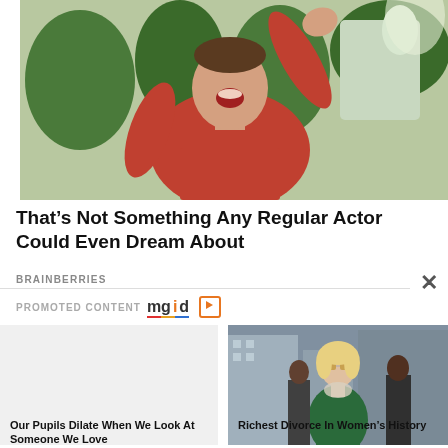[Figure (photo): Man in red t-shirt raising his hand enthusiastically outdoors with garden/fountain background]
That's Not Something Any Regular Actor Could Even Dream About
BRAINBERRIES
PROMOTED CONTENT mgid
[Figure (photo): Blank / empty left thumbnail placeholder]
[Figure (photo): Woman in green velvet outfit wearing sunglasses, walking with entourage]
Our Pupils Dilate When We Look At Someone We Love
Richest Divorce In Women's History